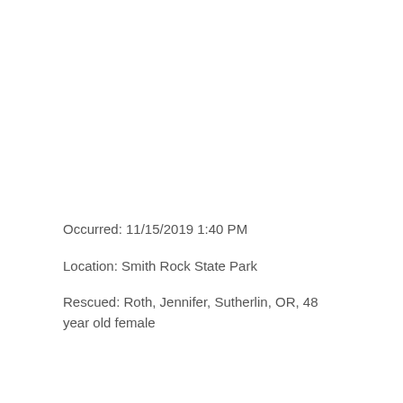Occurred: 11/15/2019 1:40 PM
Location: Smith Rock State Park
Rescued: Roth, Jennifer, Sutherlin, OR, 48 year old female